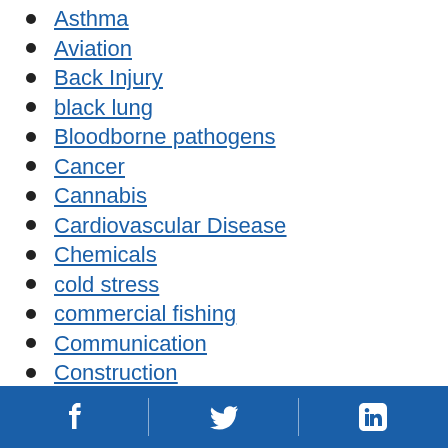Asthma
Aviation
Back Injury
black lung
Bloodborne pathogens
Cancer
Cannabis
Cardiovascular Disease
Chemicals
cold stress
commercial fishing
Communication
Construction
Facebook | Twitter | LinkedIn